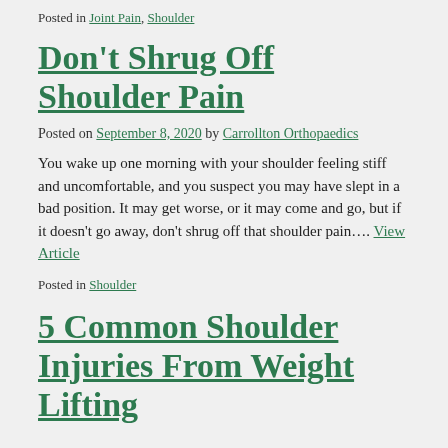Posted in Joint Pain, Shoulder
Don't Shrug Off Shoulder Pain
Posted on September 8, 2020 by Carrollton Orthopaedics
You wake up one morning with your shoulder feeling stiff and uncomfortable, and you suspect you may have slept in a bad position. It may get worse, or it may come and go, but if it doesn't go away, don't shrug off that shoulder pain…. View Article
Posted in Shoulder
5 Common Shoulder Injuries From Weight Lifting